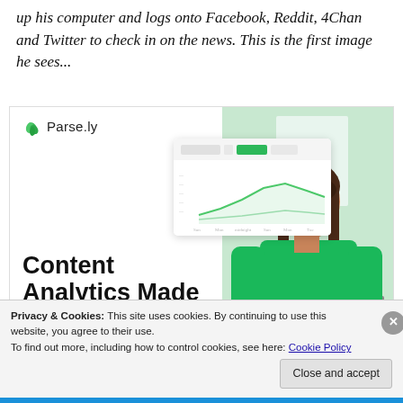up his computer and logs onto Facebook, Reddit, 4Chan and Twitter to check in on the news. This is the first image he sees...
[Figure (screenshot): Parse.ly advertisement showing logo, dashboard analytics screenshot, woman in green sweater, headline 'Content Analytics Made Easy', and 'Get A Demo →' green button]
Privacy & Cookies: This site uses cookies. By continuing to use this website, you agree to their use.
To find out more, including how to control cookies, see here: Cookie Policy